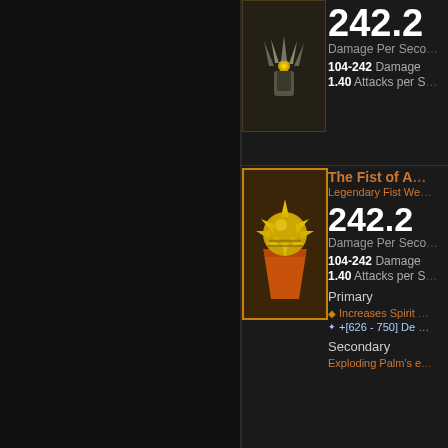[Figure (screenshot): Game item tooltip UI from Diablo III or similar ARPG. Shows two fist weapon items side by side with their stats. Left half is a dark inventory panel. Right half shows two item entries separated by a horizontal line. Top item has a claw weapon icon (DPS 242.2, 104-242 Damage, 1.40 Attacks per Second). Bottom item is 'The Fist of Az...' Legendary Fist Weapon, DPS 242.2, 104-242 Damage, 1.40 Attacks per Second, with Primary stats (Increases Spirit, +[626-750] De...) and Secondary (Exploding Palm's e...).]